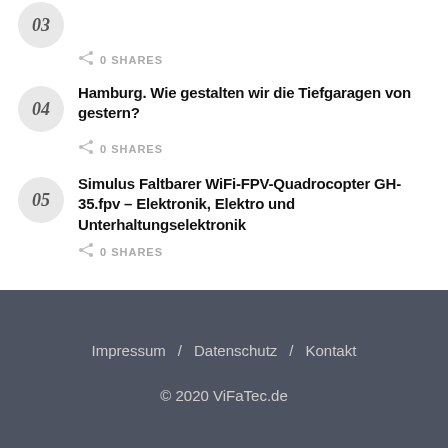03
0 SHARES
Hamburg. Wie gestalten wir die Tiefgaragen von gestern?
0 SHARES
Simulus Faltbarer WiFi-FPV-Quadrocopter GH-35.fpv – Elektronik, Elektro und Unterhaltungselektronik
0 SHARES
Impressum / Datenschutz / Kontakt
© 2020 ViFaTec.de